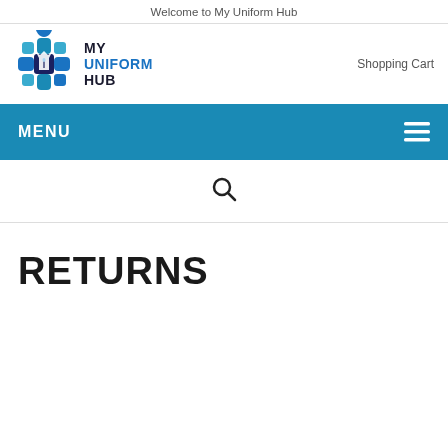Welcome to My Uniform Hub
[Figure (logo): My Uniform Hub logo — geometric diamond/cross shape in blue shades with a shirt and tie icon, next to bold text 'MY UNIFORM HUB']
Shopping Cart
MENU
[Figure (other): Search icon (magnifying glass)]
RETURNS